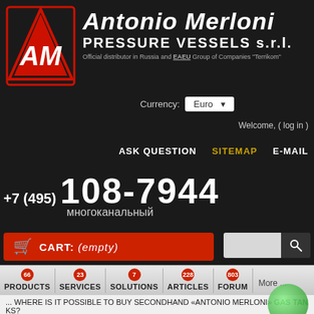[Figure (logo): Antonio Merloni AM triangular logo in red with white AM letters]
Antonio Merloni PRESSURE VESSELS s.r.l.
Official distributor in Russia and EAEU Group of Companies "Terrikom"
Currency: Euro
Welcome, ( log in )
ASK QUESTION   SITEMAP   E-MAIL
+7 (495) 108-7944 многоканальный
CART: (empty)
PRODUCTS 66   SERVICES 23   SOLUTIONS 7   ARTICLES 228   FORUM 803   More ...
... WHERE IS IT POSSIBLE TO BUY SECONDHAND «ANTONIO MERLONI» GAS TANKS?